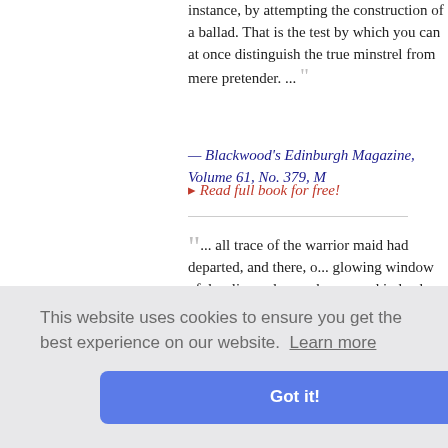instance, by attempting the construction of a ballad. That is the test by which you can at once distinguish the true minstrel from mere pretender. ...
— Blackwood's Edinburgh Magazine, Volume 61, No. 379, M...
▸ Read full book for free!
" ... all trace of the warrior maid had departed, and there, cast by a glowing window of dazzling colours, she seemed indeed a saint, with golden hair, a fit companion to the angels that the marvellous artificer had placed in that gorgeous collection of pictured panes and cut in various shapes, answering the needs of their gifted paint-brush follows the will of the artist. From where the ... "
— The Strong Arm • Robert Barr
This website uses cookies to ensure you get the best experience on our website. Learn more
Got it!
. He was a man... hich he had... n to appoin... ire in the B... (1812) where he distinguished himself for coolness and brav...